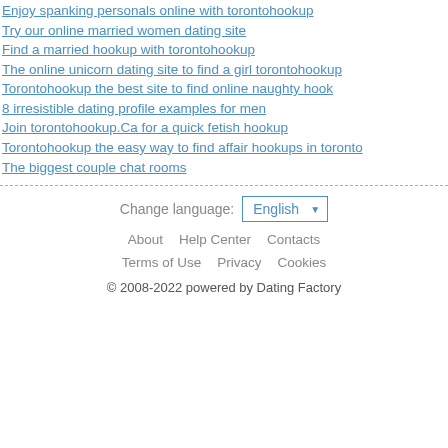Enjoy spanking personals online with torontohookup
Try our online married women dating site
Find a married hookup with torontohookup
The online unicorn dating site to find a girl torontohookup
Torontohookup the best site to find online naughty hook
8 irresistible dating profile examples for men
Join torontohookup.Ca for a quick fetish hookup
Torontohookup the easy way to find affair hookups in toronto
The biggest couple chat rooms
Change language: English | About | Help Center | Contacts | Terms of Use | Privacy | Cookies | © 2008-2022 powered by Dating Factory